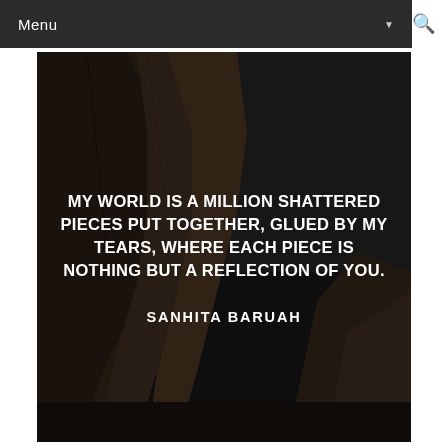Menu
[Figure (photo): Dark atmospheric photo of ancient rocky cliffs/ruins against a stormy dark sky, with an inspirational quote overlaid in white bold uppercase text: 'MY WORLD IS A MILLION SHATTERED PIECES PUT TOGETHER, GLUED BY MY TEARS, WHERE EACH PIECE IS NOTHING BUT A REFLECTION OF YOU.' — SANHITA BARUAH]
MY WORLD IS A MILLION SHATTERED PIECES PUT TOGETHER, GLUED BY MY TEARS, WHERE EACH PIECE IS NOTHING BUT A REFLECTION OF YOU.

SANHITA BARUAH